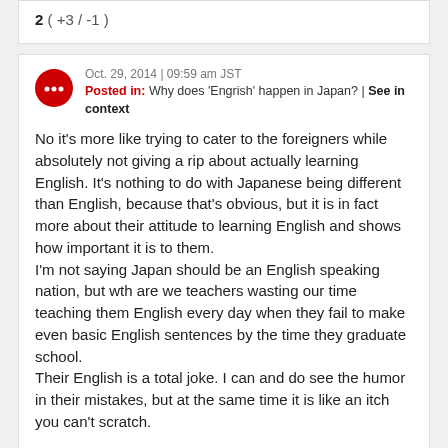2 ( +3 / -1 )
Oct. 29, 2014 | 09:59 am JST
Posted in: Why does 'Engrish' happen in Japan? | See in context
No it's more like trying to cater to the foreigners while absolutely not giving a rip about actually learning English. It's nothing to do with Japanese being different than English, because that's obvious, but it is in fact more about their attitude to learning English and shows how important it is to them.
I'm not saying Japan should be an English speaking nation, but wth are we teachers wasting our time teaching them English every day when they fail to make even basic English sentences by the time they graduate school.
Their English is a total joke. I can and do see the humor in their mistakes, but at the same time it is like an itch you can't scratch.